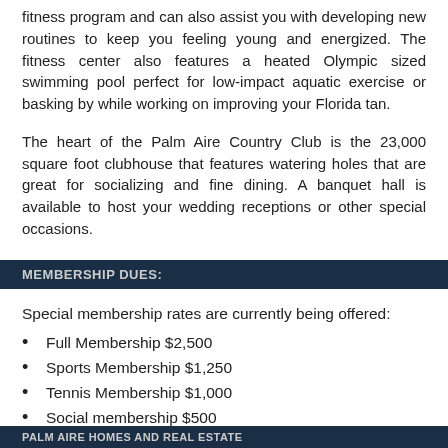fitness program and can also assist you with developing new routines to keep you feeling young and energized. The fitness center also features a heated Olympic sized swimming pool perfect for low-impact aquatic exercise or basking by while working on improving your Florida tan.
The heart of the Palm Aire Country Club is the 23,000 square foot clubhouse that features watering holes that are great for socializing and fine dining. A banquet hall is available to host your wedding receptions or other special occasions.
MEMBERSHIP DUES:
Special membership rates are currently being offered:
Full Membership $2,500
Sports Membership $1,250
Tennis Membership $1,000
Social membership $500
PALM AIRE HOMES AND REAL ESTATE